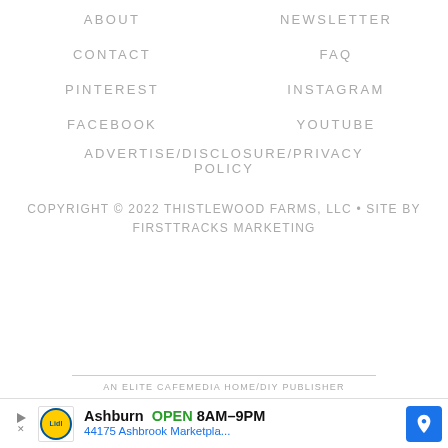ABOUT
NEWSLETTER
CONTACT
FAQ
PINTEREST
INSTAGRAM
FACEBOOK
YOUTUBE
ADVERTISE/DISCLOSURE/PRIVACY POLICY
COPYRIGHT © 2022 THISTLEWOOD FARMS, LLC • SITE BY FIRSTTRACKS MARKETING
AN ELITE CAFEMEDIA HOME/DIY PUBLISHER
[Figure (infographic): Advertisement banner for Lidl in Ashburn showing store hours OPEN 8AM-9PM and address 44175 Ashbrook Marketpla...]